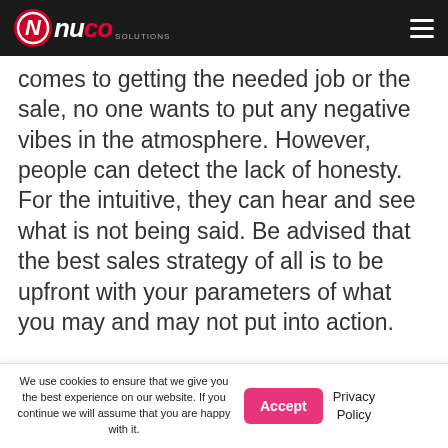NUCO SOLUTIONS
comes to getting the needed job or the sale, no one wants to put any negative vibes in the atmosphere. However, people can detect the lack of honesty. For the intuitive, they can hear and see what is not being said. Be advised that the best sales strategy of all is to be upfront with your parameters of what you may and may not put into action.
We use cookies to ensure that we give you the best experience on our website. If you continue we will assume that you are happy with it.
Accept
Privacy Policy